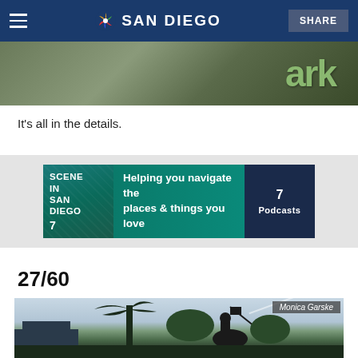NBC 7 SAN DIEGO | SHARE
[Figure (photo): Close-up of a green park sign with the word 'Park' visible]
It's all in the details.
[Figure (infographic): Scene in San Diego podcast advertisement banner: 'Helping you navigate the places & things you love' with NBC 7 Podcasts logo]
27/60
[Figure (photo): Photo credited to Monica Garske showing a statue of a figure on horseback holding a spear/lance against a pale blue sky with palm trees and buildings in the background]